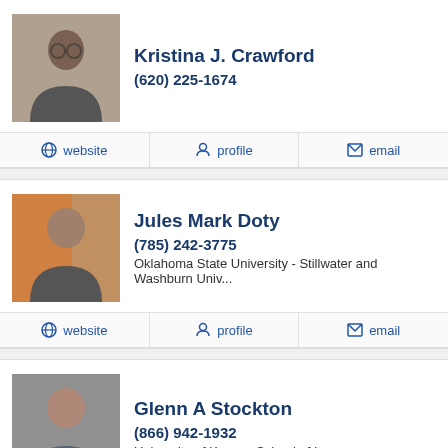[Figure (photo): Headshot of Kristina J. Crawford, a woman with short brown hair and glasses]
Kristina J. Crawford
(620) 225-1674
website   profile   email
[Figure (photo): Headshot of Jules Mark Doty, an older man with gray hair]
Jules Mark Doty
(785) 242-3775
Oklahoma State University - Stillwater and Washburn Univ...
website   profile   email
[Figure (photo): Headshot of Glenn A Stockton, a middle-aged man]
Glenn A Stockton
(866) 942-1932
University of Kansas School of Law